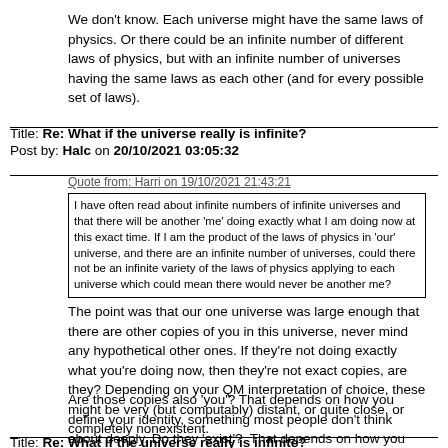We don't know. Each universe might have the same laws of physics. Or there could be an infinite number of different laws of physics, but with an infinite number of universes having the same laws as each other (and for every possible set of laws).
Title: Re: What if the universe really is infinite?
Post by: Halc on 20/10/2021 03:05:32
Quote from: Harri on 19/10/2021 21:43:21
I have often read about infinite numbers of infinite universes and that there will be another 'me' doing exactly what I am doing now at this exact time. If I am the product of the laws of physics in 'our' universe, and there are an infinite number of universes, could there not be an infinite variety of the laws of physics applying to each universe which could mean there would never be another me?
The point was that our one universe was large enough that there are other copies of you in this universe, never mind any hypothetical other ones. If they're not doing exactly what you're doing now, then they're not exact copies, are they? Depending on your QM interpretation of choice, these might be very (but computably) distant, or quite close, or completely nonexistent.
Are those copies also 'you'? That depends on how you define your identity, something most people don't think about deeply. Do they 'exist'?  That depends on how you define 'exists'.
Title: Re: What if the universe really is infinite?
Post by: Zer0 on 20/10/2021 08:22:45